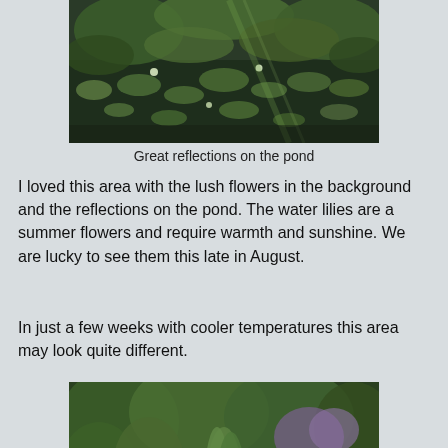[Figure (photo): A pond covered with water lily pads and lush green reflections on the water surface, photographed from above.]
Great reflections on the pond
I loved this area with the lush flowers in the background and the reflections on the pond. The water lilies are a summer flowers and require warmth and sunshine. We are lucky to see them this late in August.
In just a few weeks with cooler temperatures this area may look quite different.
[Figure (photo): A lush garden pond scene with colorful flowering plants including red, pink, and purple flowers along the water's edge, with tall green grasses and dense foliage in the background, and water lily pads on the pond surface.]